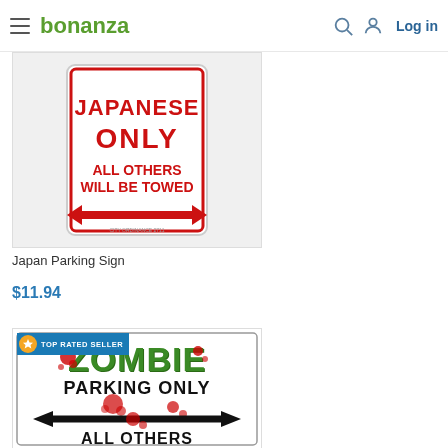bonanza | Log in
[Figure (photo): Japan Parking Sign product image - white sign with red text reading JAPANESE ONLY ALL OTHERS WILL BE TOWED with a double-headed red arrow]
Japan Parking Sign
$11.94
[Figure (photo): Zombie Parking Only sign with green dripping text and red splatter marks, black double-headed arrow, text ALL OTHERS at bottom. Has TOP RATED SELLER badge.]